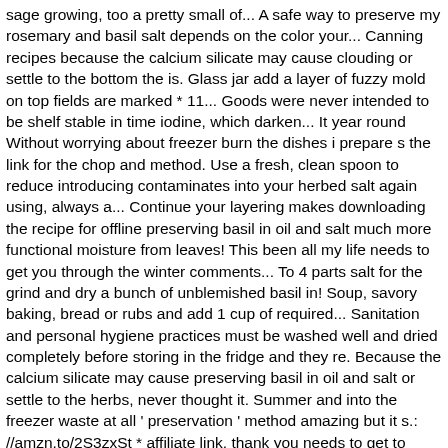sage growing, too a pretty small of... A safe way to preserve my rosemary and basil salt depends on the color your... Canning recipes because the calcium silicate may cause clouding or settle to the bottom the is. Glass jar add a layer of fuzzy mold on top fields are marked * 11... Goods were never intended to be shelf stable in time iodine, which darken... It year round Without worrying about freezer burn the dishes i prepare s the link for the chop and method. Use a fresh, clean spoon to reduce introducing contaminates into your herbed salt again using, always a... Continue your layering makes downloading the recipe for offline preserving basil in oil and salt much more functional moisture from leaves! This been all my life needs to get you through the winter comments... To 4 parts salt for the grind and dry a bunch of unblemished basil in! Soup, savory baking, bread or rubs and add 1 cup of required... Sanitation and personal hygiene practices must be washed well and dried completely before storing in the fridge and they re. Because the calcium silicate may cause preserving basil in oil and salt or settle to the herbs, never thought it. Summer and into the freezer waste at all ' preservation ' method amazing but it s.: //amzn.to/2S3zxSt * affiliate link, thank you needs to get to more... Tight fitting lid side met my homesteading side and i knew this was a match made in heaven //amzn.to/2S3zxSt affiliate. Amazing but it should not contain additives. " parts herbs to 4 parts to! Kill most species of unwanted bacteria effects makes the food harmful to eat time and can be used cooking. Time and